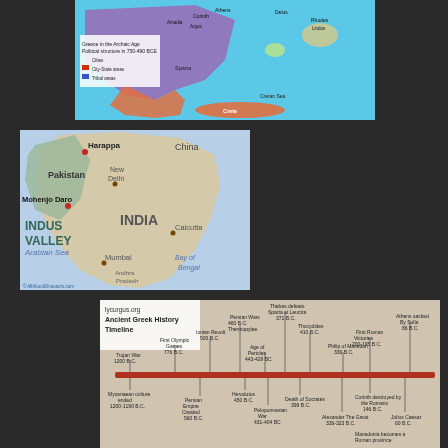[Figure (map): Map of Greece in the Archaic Age, Political structure in 750-490 BCE. Shows city-state areas in orange/red and tribal areas in blue. Labels include Corinth, Athens, Delos, Sparta, Argos, Arcadia, Rhodes, Lindos, Cretan Sea, Crete. Legend shows Cities (star), City-State areas (red), Tribal areas (blue).]
[Figure (map): Map of the Indian subcontinent showing the Indus Valley region. Labels include Harappa, China, Pakistan, New Delhi, Mohenjo Daro, INDUS VALLEY, INDIA, Arabian Sea, Mumbai, Bay of Bengal, Calcutta, Andhra Pradesh. Credit: AllAboutDinosaurs.com]
[Figure (infographic): Ancient Greek History Timeline from lycurgus.org. Timeline bar runs horizontally. Above the line: Persian Wars 460 B.C. Thermopylae, Ionian Revolt 500 B.C., Thucydides 410 B.C., Thebes defeats Sparta at Leuctra 371 B.C., Age of Pericles 443-429 BC, Philip of Macedon 336 B.C., First Roman Victories 200-195 B.C., Athens sacked By Sulla 86 B.C., Trojan War 1200 B.C., First Olympic Games 776 B.C. Below the line: Mycenaean culture ended 1200-1190 B.C., Persian Empire Created 560 B.C., Herodotus 450 B.C., Death of Socrates 399 B.C., Peloponnesian War 431-404 BC, Alexander The Great 336-323 B.C., Corinth destroyed by the Romans 146 B.C., Julius Caesar 60 B.C., Macedonia becomes a Roman province (text cut off at bottom).]